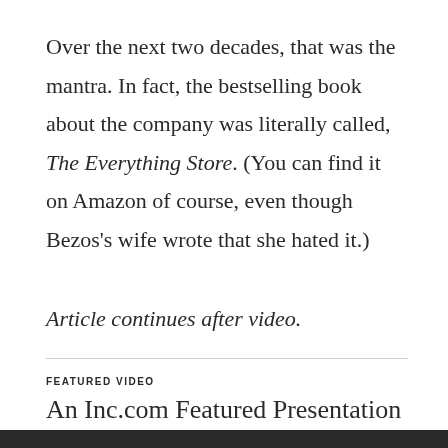Over the next two decades, that was the mantra. In fact, the bestselling book about the company was literally called, The Everything Store. (You can find it on Amazon of course, even though Bezos's wife wrote that she hated it.)
Article continues after video.
FEATURED VIDEO
An Inc.com Featured Presentation